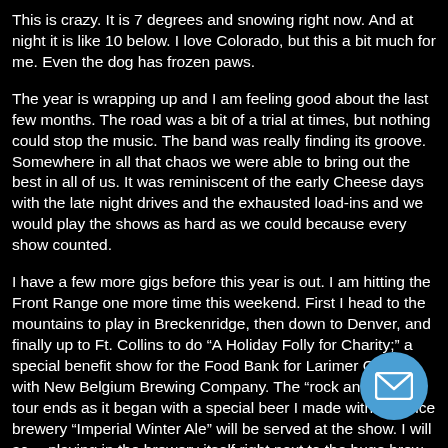This is crazy. It is 7 degrees and snowing right now. And at night it is like 10 below. I love Colorado, but this a bit much for me. Even the dog has frozen paws.
The year is wrapping up and I am feeling good about the last few months. The road was a bit of a trial at times, but nothing could stop the music. The band was really finding its groove. Somewhere in all that chaos we were able to bring out the best in all of us. It was reminiscent of the early Cheese days with the late night drives and the exhausted load-ins and we would play the shows as hard as we could because every show counted.
I have a few more gigs before this year is out. I am hitting the Front Range one more time this weekend. First I head to the mountains to play in Breckenridge, then down to Denver, and finally up to Ft. Collins to do “A Holiday Folly for Charity;” a special benefit show for the Food Bank for Larimer County with New Belgium Brewing Company. The “rock and brew” tour ends as it began with a special beer I made with a choice brewery “Imperial Winter Ale” will be served at the show. I will ac… playing in the brewery itself right next to the huge brew kettles. Should be pretty cool.
[Figure (other): Email/envelope icon button, circular blue button with white envelope icon]